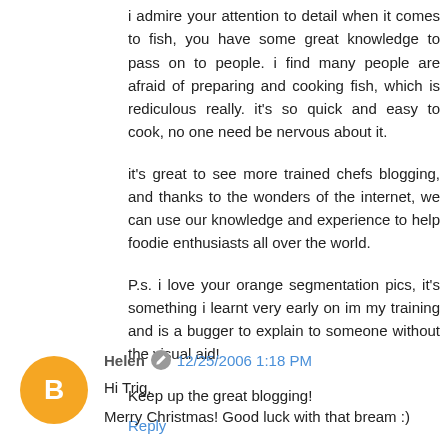i admire your attention to detail when it comes to fish, you have some great knowledge to pass on to people. i find many people are afraid of preparing and cooking fish, which is rediculous really. it's so quick and easy to cook, no one need be nervous about it.
it's great to see more trained chefs blogging, and thanks to the wonders of the internet, we can use our knowledge and experience to help foodie enthusiasts all over the world.
P.s. i love your orange segmentation pics, it's something i learnt very early on im my training and is a bugger to explain to someone without the visual aid!
Keep up the great blogging!
Reply
Helen  12/25/2006 1:18 PM
Hi Trig,
Merry Christmas! Good luck with that bream :)